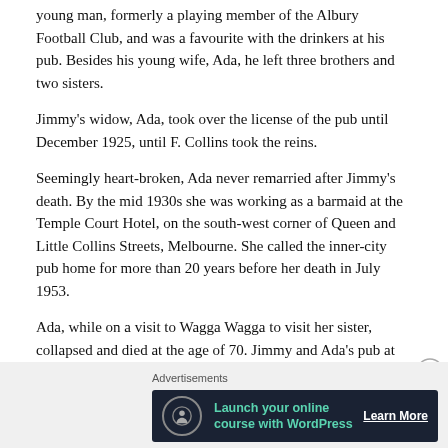young man, formerly a playing member of the Albury Football Club, and was a favourite with the drinkers at his pub. Besides his young wife, Ada, he left three brothers and two sisters.
Jimmy's widow, Ada, took over the license of the pub until December 1925, until F. Collins took the reins.
Seemingly heart-broken, Ada never remarried after Jimmy's death. By the mid 1930s she was working as a barmaid at the Temple Court Hotel, on the south-west corner of Queen and Little Collins Streets, Melbourne. She called the inner-city pub home for more than 20 years before her death in July 1953.
Ada, while on a visit to Wagga Wagga to visit her sister, collapsed and died at the age of 70. Jimmy and Ada's pub at Walbundrie continues to trade, while the Temple Court Hotel has long been demolished and replaced with an inner-city high-rise.
Advertisements
[Figure (infographic): Advertisement banner: Launch your online course with WordPress — Learn More]